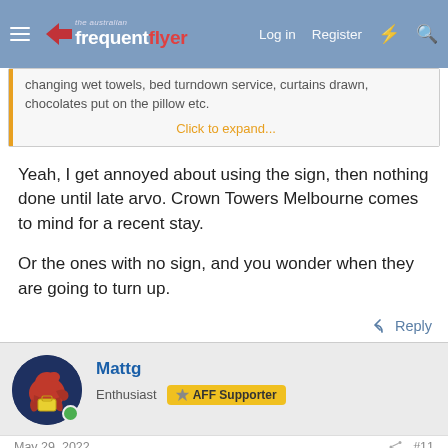The Australian Frequent Flyer — Log in | Register
changing wet towels, bed turndown service, curtains drawn, chocolates put on the pillow etc.
Click to expand...
Yeah, I get annoyed about using the sign, then nothing done until late arvo. Crown Towers Melbourne comes to mind for a recent stay.

Or the ones with no sign, and you wonder when they are going to turn up.
Reply
Mattg
Enthusiast  AFF Supporter
May 29, 2022  #11
I stayed in a few US hotels this week (4 star hotels that were n…